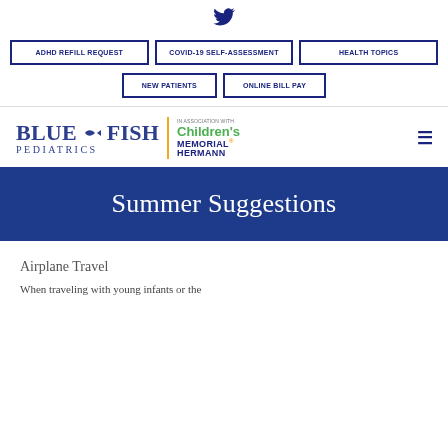[Figure (logo): Twitter bird icon centered at top]
ADHD REFILL REQUEST
COVID-19 SELF-ASSESSMENT
HEALTH TOPICS
NEW PATIENTS
ONLINE BILL PAY
[Figure (logo): Blue Fish Pediatrics logo in association with Children's Memorial Hermann]
Summer Suggestions
Airplane Travel
When traveling with young infants or the